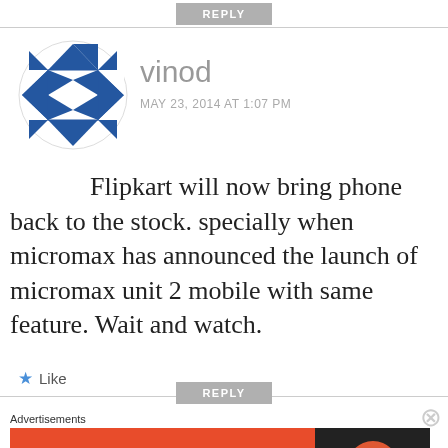REPLY
[Figure (illustration): Blue and white geometric diamond/quilt pattern avatar icon for user vinod]
vinod
MAY 23, 2014 AT 1:07 PM
Flipkart will now bring phone back to the stock. specially when micromax has announced the launch of micromax unit 2 mobile with same feature. Wait and watch.
★ Like
REPLY
Advertisements
[Figure (screenshot): DuckDuckGo advertisement banner: orange-red background with text 'Search, browse, and email with more privacy. All in One Free App' and DuckDuckGo logo on dark background]